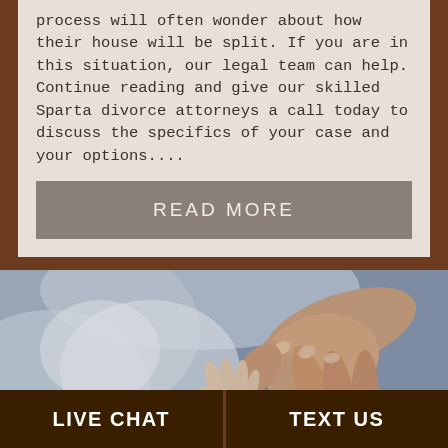process will often wonder about how their house will be split. If you are in this situation, our legal team can help. Continue reading and give our skilled Sparta divorce attorneys a call today to discuss the specifics of your case and your options....
READ MORE
[Figure (photo): Close-up photo of an adult hand gently holding a newborn baby's tiny hand, with soft blue and white cloth in the background.]
LIVE CHAT
TEXT US